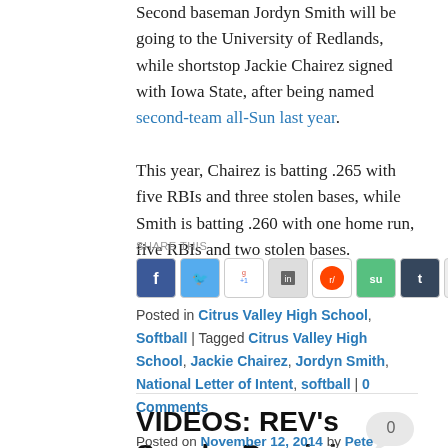Second baseman Jordyn Smith will be going to the University of Redlands, while shortstop Jackie Chairez signed with Iowa State, after being named second-team all-Sun last year. This year, Chairez is batting .265 with five RBIs and three stolen bases, while Smith is batting .260 with one home run, five RBIs and two stolen bases.
SHARE THIS
[Figure (other): Social sharing icons: Facebook, Twitter, Google+1, LinkedIn, Reddit, StumbleUpon, Tumblr, Email]
Posted in Citrus Valley High School, Softball | Tagged Citrus Valley High School, Jackie Chairez, Jordyn Smith, National Letter of Intent, softball | 0 Comments
VIDEOS: REV's Sascha Dominique, Autumn Gillespie sign
Posted on November 12, 2014 by Pete